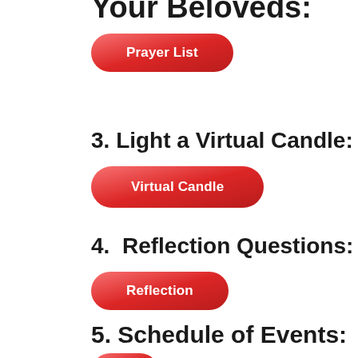Your Beloveds:
[Figure (other): Red gradient pill-shaped button labeled 'Prayer List']
3. Light a Virtual Candle:
[Figure (other): Red gradient pill-shaped button labeled 'Virtual Candle']
4.  Reflection Questions:
[Figure (other): Red gradient pill-shaped button labeled 'Reflection']
5. Schedule of Events:
[Figure (other): Red gradient pill-shaped button (partially visible at bottom)]